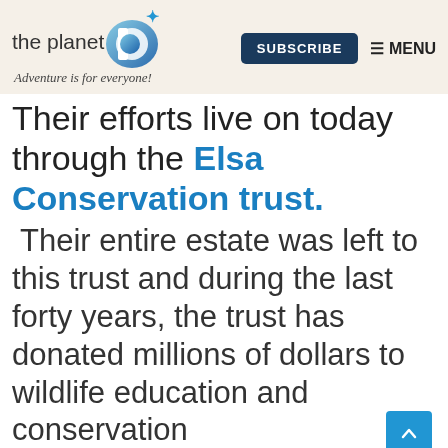the planet D — Adventure is for everyone! SUBSCRIBE MENU
Their efforts live on today through the Elsa Conservation trust.
Their entire estate was left to this trust and during the last forty years, the trust has donated millions of dollars to wildlife education and conservation projects. They have helped to create many parks and reserves